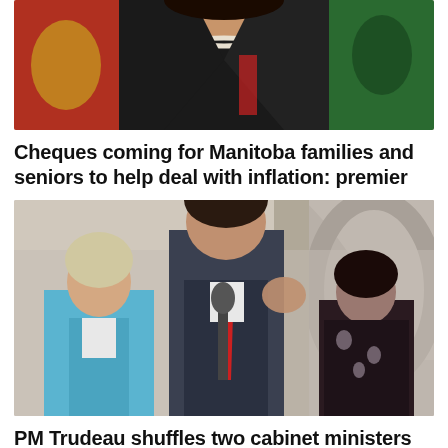[Figure (photo): Partial photo of a woman in a dark blazer with a pearl necklace, standing in front of flags]
Cheques coming for Manitoba families and seniors to help deal with inflation: premier
[Figure (photo): Prime Minister Justin Trudeau speaking at a microphone outside, flanked by two women — one in a blue cardigan and one in a dark floral top — in front of a stone archway]
PM Trudeau shuffles two cabinet ministers Tassi and Jaczek